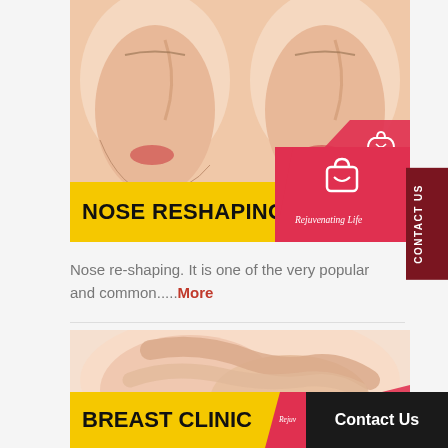[Figure (photo): Before and after nose reshaping photos showing side profiles of a woman's face]
NOSE RESHAPING
Nose re-shaping. It is one of the very popular and common.....More
[Figure (photo): Breast clinic photo showing a woman's hands near chest area]
BREAST CLINIC
Contact Us